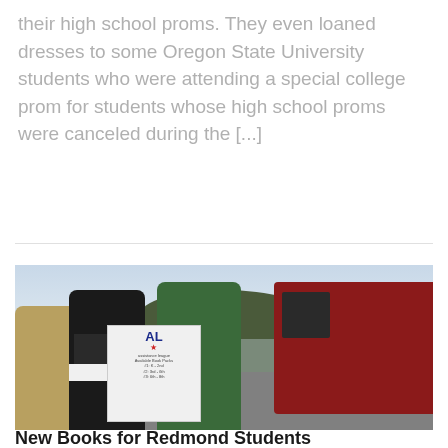their high school proms. They even loaned dresses to some Oregon State University students who were attending a special college prom for students whose high school proms were canceled during the [...]
[Figure (photo): Outdoor scene showing volunteers with the Assistance League distributing book packs from a table in a parking lot. A sign reads 'Assistance League Available Book Packs #1: K-2nd, #2: 3rd-6th, #3: 6th-8th'. A dark red pickup truck is parked on the right side. Trees and sky visible in the background.]
New Books for Redmond Students